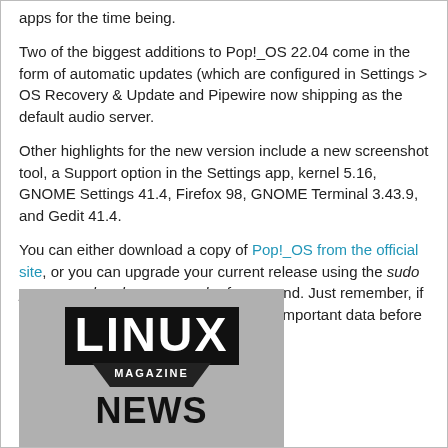apps for the time being.
Two of the biggest additions to Pop!_OS 22.04 come in the form of automatic updates (which are configured in Settings > OS Recovery & Update and Pipewire now shipping as the default audio server.
Other highlights for the new version include a new screenshot tool, a Support option in the Settings app, kernel 5.16, GNOME Settings 41.4, Firefox 98, GNOME Terminal 3.43.9, and Gedit 41.4.
You can either download a copy of Pop!_OS from the official site, or you can upgrade your current release using the sudo pop-upgrade release upgrade -f command. Just remember, if you run an upgrade, backup all of your important data before doing so.
[Figure (logo): Linux Magazine NEWS logo on grey background]